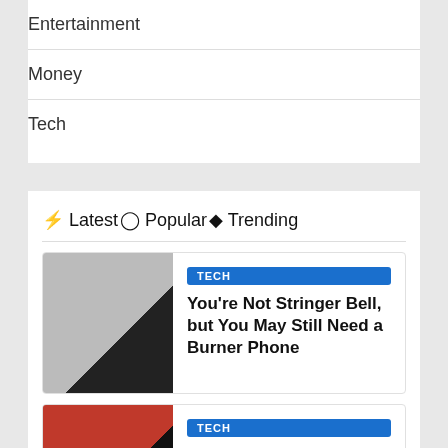Entertainment
Money
Tech
⚡ Latest⊙ Popular🔥 Trending
[Figure (photo): SIM card tray with ejection tool on white background]
TECH
You're Not Stringer Bell, but You May Still Need a Burner Phone
[Figure (photo): Red and dark image possibly showing a person/hacker with USB drive]
TECH
The FTC May (Finally) Protect Americans From Data Brokers